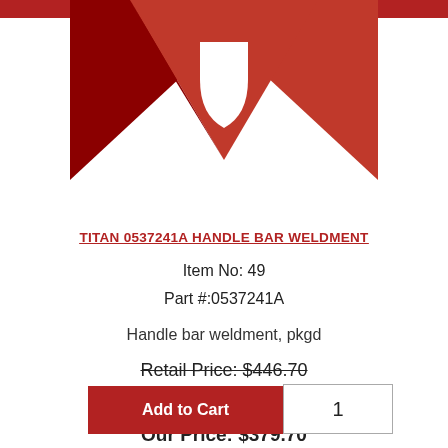[Figure (logo): Titan brand logo — dark red downward-pointing arrow/chevron shape with a white shield emblem in the center, on a white background]
TITAN 0537241A HANDLE BAR WELDMENT
Item No: 49
Part #:0537241A
Handle bar weldment, pkgd
Retail Price: $446.70
You save: $67.01  (15%)
Our Price: $379.70
Add to Cart
1